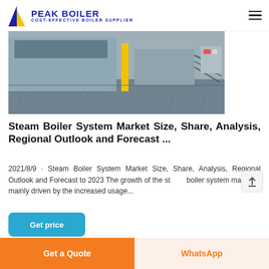PEAK BOILER — COST-EFFECTIVE BOILER SUPPLIER
[Figure (photo): Industrial boiler equipment on a factory floor, showing machinery with yellow safety posts and cables]
Steam Boiler System Market Size, Share, Analysis, Regional Outlook and Forecast ...
2021/8/9 · Steam Boiler System Market Size, Share, Analysis, Regional Outlook and Forecast to 2023 The growth of the steam boiler system market is mainly driven by the increased usage...
Get price
Get a Quote    WhatsApp